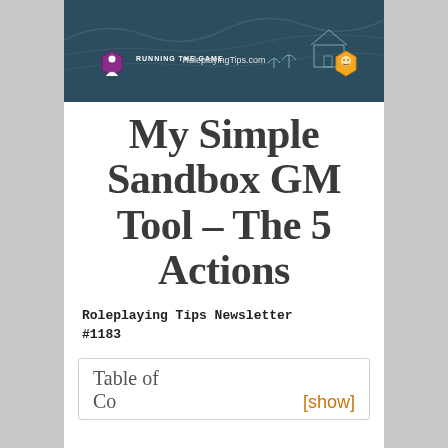[Figure (screenshot): Header banner for RoleplayingTips.com website showing 'Running the Game' logo on the left, 'RoleplayingTips.com' text in the center, and a character icon on the right, over a dark blue illustrated background of a rural scene.]
My Simple Sandbox GM Tool - The 5 Actions
Roleplaying Tips Newsletter #1183
Table of Contents [show]